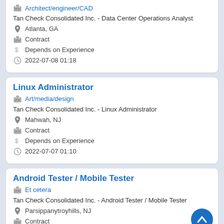Architect/engineer/CAD | Tan Check Consolidated Inc. - Data Center Operations Analyst | Atlanta, GA | Contract | Depends on Experience | 2022-07-08 01:18
Linux Administrator
Art/media/design | Tan Check Consolidated Inc. - Linux Administrator | Mahwah, NJ | Contract | Depends on Experience | 2022-07-07 01:10
Android Tester / Mobile Tester
Et cetera | Tan Check Consolidated Inc. - Android Tester / Mobile Tester | Parsippanytroyhills, NJ | Contract